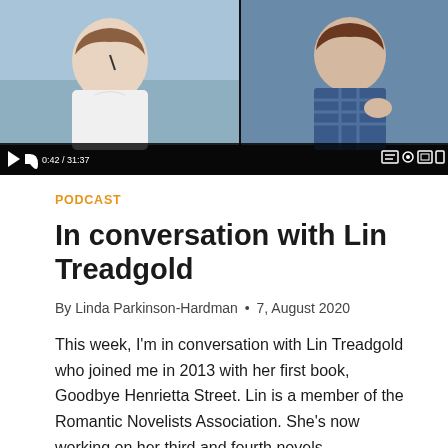[Figure (screenshot): Video player screenshot showing two women in a split-screen video call. Left woman in white blouse, right woman in plaid top. Video controls bar at bottom showing timestamp 0:42 / 31:37.]
PODCAST
In conversation with Lin Treadgold
By Linda Parkinson-Hardman • 7, August 2020
This week, I'm in conversation with Lin Treadgold who joined me in 2013 with her first book, Goodbye Henrietta Street. Lin is a member of the Romantic Novelists Association. She's now working on her third and fourth novels,